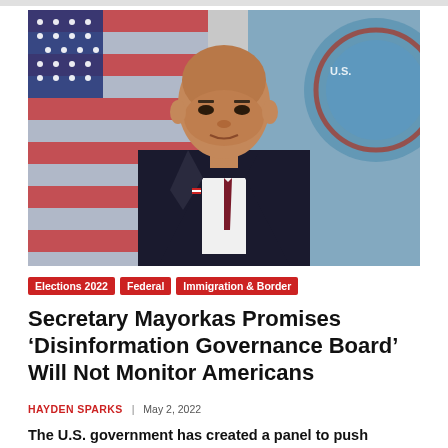[Figure (photo): Official portrait of Secretary Alejandro Mayorkas in a dark suit with a dark red tie, standing in front of an American flag and a DHS seal, bald man looking directly at camera]
Elections 2022
Federal
Immigration & Border
Secretary Mayorkas Promises ‘Disinformation Governance Board’ Will Not Monitor Americans
HAYDEN SPARKS | MAY 2, 2022
The U.S. government has created a panel to push